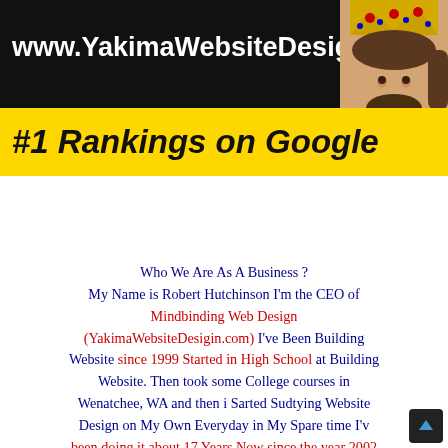[Figure (infographic): Black banner header with white bold URL text 'www.YakimaWebsiteDesign.com' and a photo of a man wearing a crown in the top-right corner]
#1 Rankings on Google
Who We Are As A Business ? My Name is Robert Hutchinson I'm the CEO of Mindbinding Web Design (YakimaWebsiteDesigin.com) I've Been Building Website since 1999 Started in High School at Building Website. Then took some College courses in Wenatchee, WA and then i Sarted Sudtying Website Design on My Own Everyday in My Spare time I've been doing it about 17 Years Now since the year 2002